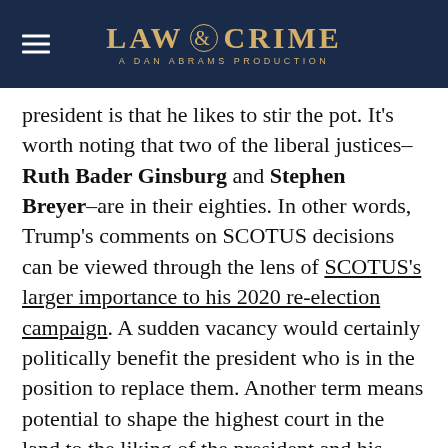LAW & CRIME — A DAN ABRAMS PRODUCTION
president is that he likes to stir the pot. It's worth noting that two of the liberal justices–Ruth Bader Ginsburg and Stephen Breyer–are in their eighties. In other words, Trump's comments on SCOTUS decisions can be viewed through the lens of SCOTUS's larger importance to his 2020 re-election campaign. A sudden vacancy would certainly politically benefit the president who is in the position to replace them. Another term means potential to shape the highest court in the land to the liking of the president and his base.
“These horrible & politically charged decisions